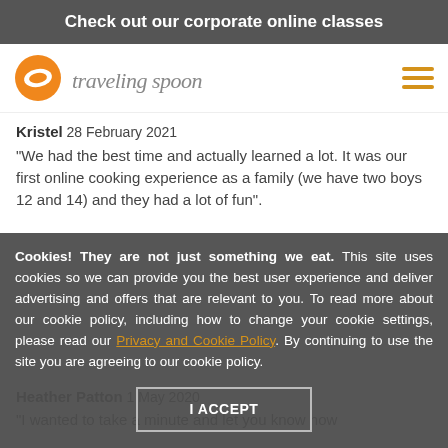Check out our corporate online classes
[Figure (logo): Traveling Spoon logo with orange circle icon and script wordmark]
Kristel 28 February 2021
"We had the best time and actually learned a lot. It was our first online cooking experience as a family (we have two boys 12 and 14) and they had a lot of fun".
Isabel 27 September 2020
Cookies! They are not just something we eat. This site uses cookies so we can provide you the best user experience and deliver advertising and offers that are relevant to you. To read more about our cookie policy, including how to change your cookie settings, please read our Privacy and Cookie Policy. By continuing to use the site you are agreeing to our cookie policy.
I ACCEPT
Heather Patton 1 May 2020
"I wanted to take a minute and let you know how